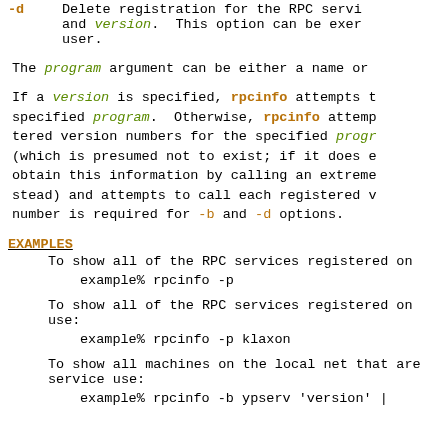-d   Delete registration for the RPC service with the specified program and version. This option can be exercised by the super-user.
The program argument can be either a name or
If a version is specified, rpcinfo attempts to the specified program. Otherwise, rpcinfo attempts tered version numbers for the specified program (which is presumed not to exist; if it does exist obtain this information by calling an extremely stead) and attempts to call each registered version number is required for -b and -d options.
EXAMPLES
To show all of the RPC services registered on
example% rpcinfo -p
To show all of the RPC services registered on use:
example% rpcinfo -p klaxon
To show all machines on the local net that are running a particular service use:
example% rpcinfo -b ypserv 'version' |